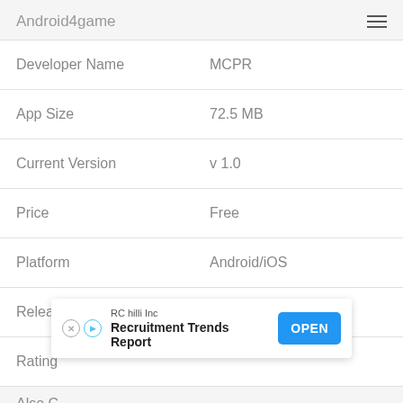Android4game
| Field | Value |
| --- | --- |
| Developer Name | MCPR |
| App Size | 72.5 MB |
| Current Version | v 1.0 |
| Price | Free |
| Platform | Android/iOS |
| Release On | Jun 10, 2021 |
| Rating |  |
| Also C |  |
[Figure (screenshot): Advertisement overlay: RC hilli Inc - Recruitment Trends Report with OPEN button]